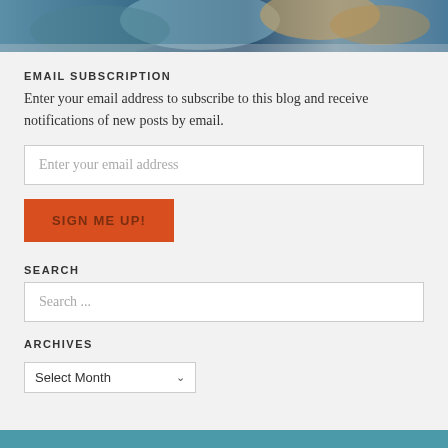[Figure (photo): Top banner image showing a colorful abstract or water/painting scene in blues and earth tones]
EMAIL SUBSCRIPTION
Enter your email address to subscribe to this blog and receive notifications of new posts by email.
Enter your email address
SIGN ME UP!
SEARCH
Search ...
ARCHIVES
Select Month